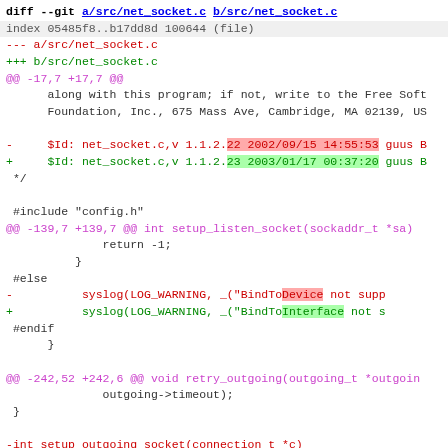[Figure (screenshot): Git diff output for src/net_socket.c showing code changes including version string update, BindToDevice to BindToInterface rename, and removal of setup_outgoing_socket function]